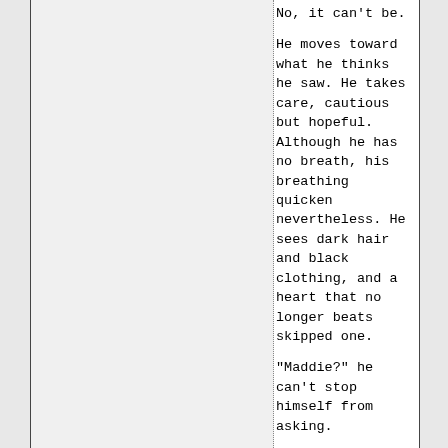No, it can't be.
He moves toward what he thinks he saw. He takes care, cautious but hopeful. Although he has no breath, his breathing quicken nevertheless. He sees dark hair and black clothing, and a heart that no longer beats skipped one.
"Maddie?" he can't stop himself from asking.
But no, she doesn't wear her hair like that. She never lets it get longer than just below her shoulders. Still, who is she? Why is she here? Without knowing it, he